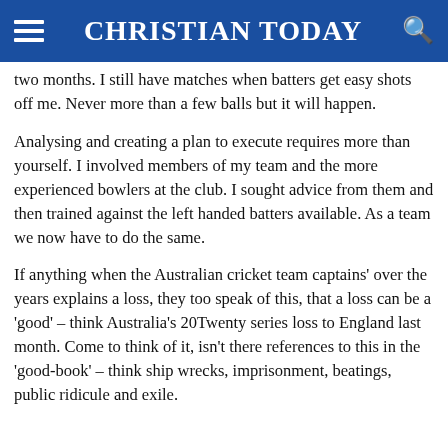CHRISTIAN TODAY
two months. I still have matches when batters get easy shots off me. Never more than a few balls but it will happen.
Analysing and creating a plan to execute requires more than yourself. I involved members of my team and the more experienced bowlers at the club. I sought advice from them and then trained against the left handed batters available. As a team we now have to do the same.
If anything when the Australian cricket team captains' over the years explains a loss, they too speak of this, that a loss can be a 'good' – think Australia's 20Twenty series loss to England last month. Come to think of it, isn't there references to this in the 'good-book' – think ship wrecks, imprisonment, beatings, public ridicule and exile.